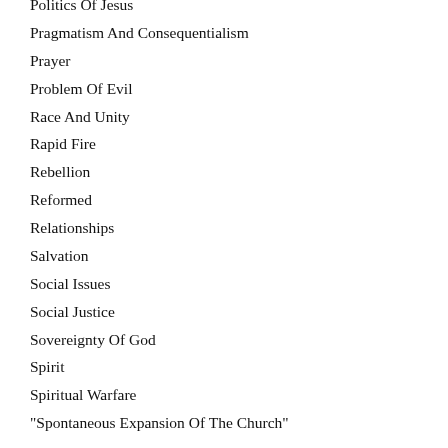Politics Of Jesus
Pragmatism And Consequentialism
Prayer
Problem Of Evil
Race And Unity
Rapid Fire
Rebellion
Reformed
Relationships
Salvation
Social Issues
Social Justice
Sovereignty Of God
Spirit
Spiritual Warfare
"Spontaneous Expansion Of The Church"